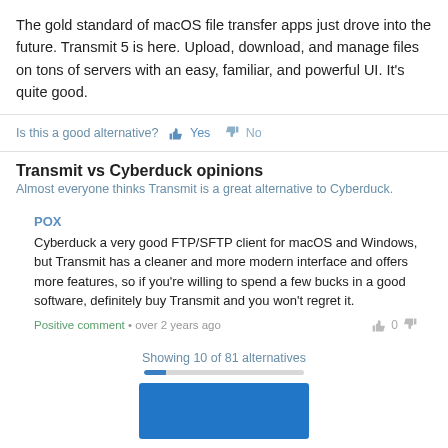The gold standard of macOS file transfer apps just drove into the future. Transmit 5 is here. Upload, download, and manage files on tons of servers with an easy, familiar, and powerful UI. It's quite good.
Is this a good alternative? 👍 Yes 👎 No
Transmit vs Cyberduck opinions
Almost everyone thinks Transmit is a great alternative to Cyberduck.
POX
Cyberduck a very good FTP/SFTP client for macOS and Windows, but Transmit has a cleaner and more modern interface and offers more features, so if you're willing to spend a few bucks in a good software, definitely buy Transmit and you won't regret it.
Positive comment • over 2 years ago
Showing 10 of 81 alternatives